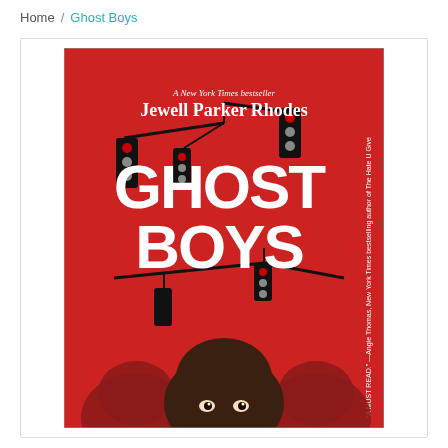Home / Ghost Boys
[Figure (illustration): Book cover of 'Ghost Boys' by Jewell Parker Rhodes. Red background with traffic lights on poles, large white bold text 'GHOST BOYS', a boy's face at the bottom, and two darker silhouetted faces behind. Top reads 'A New York Times bestseller'. Side text reads 'A MUST READ.' - Angie Thomas, New York Times bestselling author of The Hate U Give.]